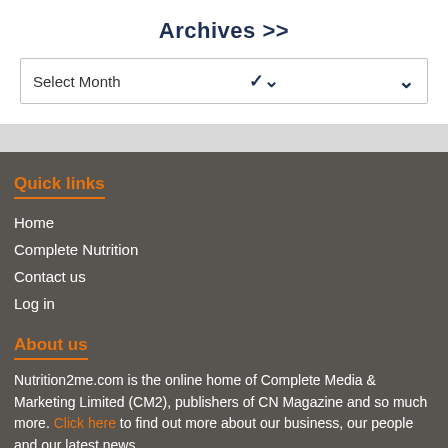Archives >>
Select Month
Quick links
Home
Complete Nutrition
Contact us
Log in
About us
Nutrition2me.com is the online home of Complete Media & Marketing Limited (CM2), publishers of CN Magazine and so much more. Click here to find out more about our business, our people and our latest news.